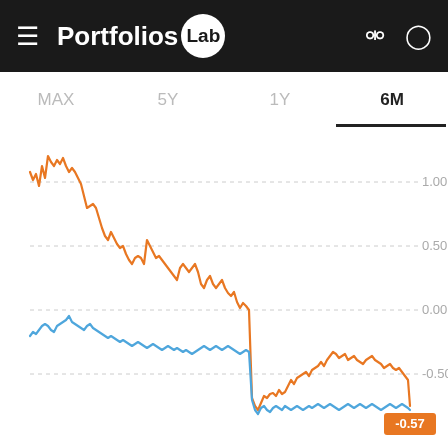PortfoliosLab
MAX  5Y  1Y  6M
[Figure (line-chart): Two-series line chart (orange and blue) showing portfolio performance over 6 months. Orange line starts high ~1.1, peaks near 1.2, then trends down to near -0.57 at the end. Blue line stays lower, trending from about -0.3 down to around -0.5 to -0.6. Y-axis labels: 1.00, 0.50, 0.00, -0.50. Orange end label: -0.57.]